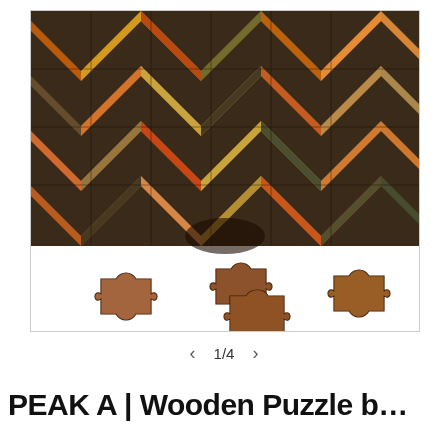[Figure (photo): A wooden jigsaw puzzle partially assembled, showing a colorful chevron/herringbone pattern in orange, yellow, brown, and dark earth tones. Several puzzle pieces are scattered below the main assembled section.]
< 1/4 >
PEAK A | Wooden Puzzle b...